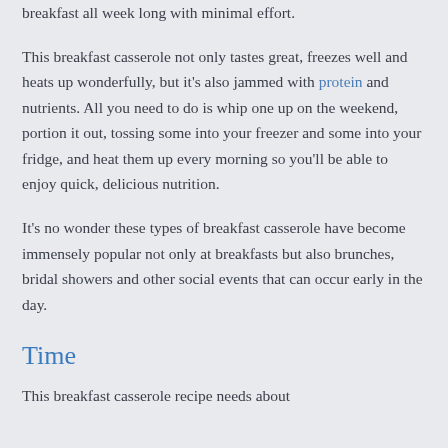breakfast all week long with minimal effort.
This breakfast casserole not only tastes great, freezes well and heats up wonderfully, but it's also jammed with protein and nutrients. All you need to do is whip one up on the weekend, portion it out, tossing some into your freezer and some into your fridge, and heat them up every morning so you'll be able to enjoy quick, delicious nutrition.
It's no wonder these types of breakfast casserole have become immensely popular not only at breakfasts but also brunches, bridal showers and other social events that can occur early in the day.
Time
This breakfast casserole recipe needs about